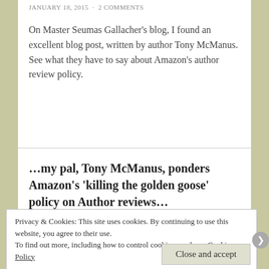JANUARY 18, 2015  ·  2 COMMENTS
On Master Seumas Gallacher's blog, I found an excellent blog post, written by author Tony McManus. See what they have to say about Amazon's author review policy.
…my pal, Tony McManus, ponders Amazon's 'killing the golden goose' policy on Author reviews…
Privacy & Cookies: This site uses cookies. By continuing to use this website, you agree to their use.
To find out more, including how to control cookies, see here: Cookie Policy
Close and accept